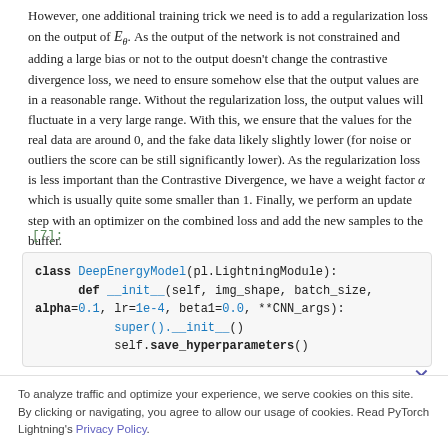However, one additional training trick we need is to add a regularization loss on the output of E_theta. As the output of the network is not constrained and adding a large bias or not to the output doesn't change the contrastive divergence loss, we need to ensure somehow else that the output values are in a reasonable range. Without the regularization loss, the output values will fluctuate in a very large range. With this, we ensure that the values for the real data are around 0, and the fake data likely slightly lower (for noise or outliers the score can be still significantly lower). As the regularization loss is less important than the Contrastive Divergence, we have a weight factor alpha which is usually quite some smaller than 1. Finally, we perform an update step with an optimizer on the combined loss and add the new samples to the buffer.
Below, we put this training dynamic into a PyTorch Lightning module:
[Figure (screenshot): Code cell labeled [7]: showing Python class definition for DeepEnergyModel inheriting from pl.LightningModule, with __init__ method taking self, img_shape, batch_size, alpha=0.1, lr=1e-4, beta1=0.0, **CNN_args, calling super().__init__() and self.save_hyperparameters()]
To analyze traffic and optimize your experience, we serve cookies on this site. By clicking or navigating, you agree to allow our usage of cookies. Read PyTorch Lightning's Privacy Policy.